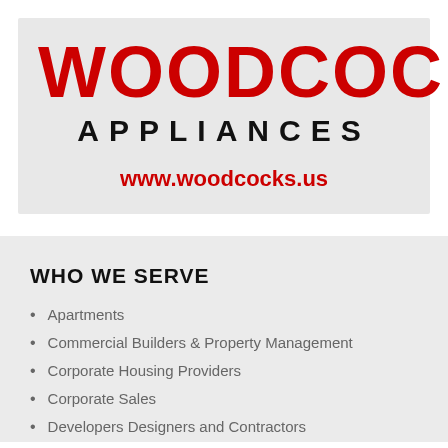[Figure (logo): Woodcocks Appliances logo with large red bold WOODCOCKS text, black APPLIANCES text, and red website URL www.woodcocks.us on a light grey background]
WHO WE SERVE
Apartments
Commercial Builders & Property Management
Corporate Housing Providers
Corporate Sales
Developers Designers and Contractors